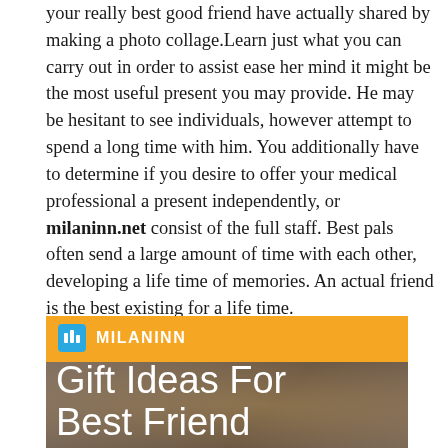your really best good friend have actually shared by making a photo collage.Learn just what you can carry out in order to assist ease her mind it might be the most useful present you may provide. He may be hesitant to see individuals, however attempt to spend a long time with him. You additionally have to determine if you desire to offer your medical professional a present independently, or milaninn.net consist of the full staff. Best pals often send a large amount of time with each other, developing a life time of memories. An actual friend is the best existing for a life time.
[Figure (logo): Milaninn.net promotional banner image showing the Milaninn logo in an orange bar at the top, and below it a dark section with two people smiling and the text 'Gift Ideas For Best Friend' in white.]